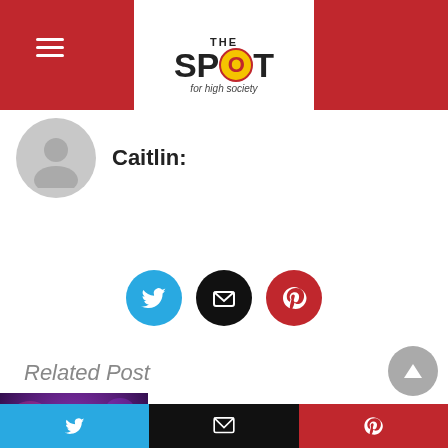The Spot - for high society
Caitlin:
[Figure (infographic): Three social share buttons: Twitter (blue circle), Email (black circle), Pinterest (red circle)]
Related Post
[Figure (photo): Cannabis plants under purple LED grow lights]
GHOST OF LEEROY STRAIN
Getting tired of your usual cannabis strain? Why don't you try out a new one...
Social share bar: Twitter, Email, Pinterest